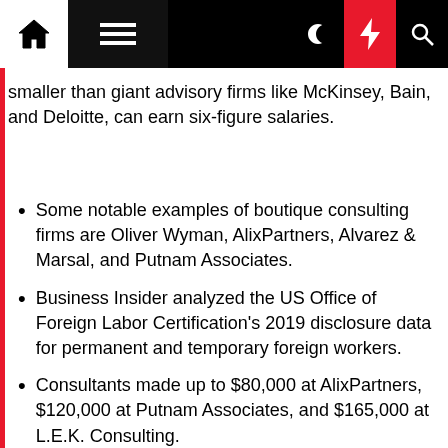Navigation bar with home, menu, moon, lightning, and search icons
smaller than giant advisory firms like McKinsey, Bain, and Deloitte, can earn six-figure salaries.
Some notable examples of boutique consulting firms are Oliver Wyman, AlixPartners, Alvarez & Marsal, and Putnam Associates.
Business Insider analyzed the US Office of Foreign Labor Certification's 2019 disclosure data for permanent and temporary foreign workers.
Consultants made up to $80,000 at AlixPartners, $120,000 at Putnam Associates, and $165,000 at L.E.K. Consulting.
Visit Business Insider's homepage for more stories.